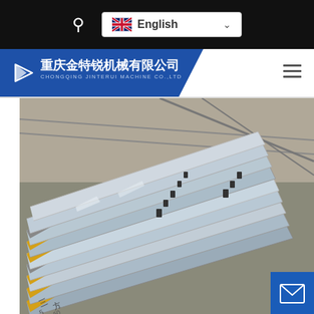[Figure (screenshot): Website screenshot of Chongqing Jinterui Machine Co., Ltd. showing a black top navigation bar with search icon and English language selector, a blue company header with logo and Chinese/English company name, and a main product photo showing stacked steel plates/sheets in a warehouse/factory setting with yellow supports. Floating contact buttons (email and WhatsApp) on the right side.]